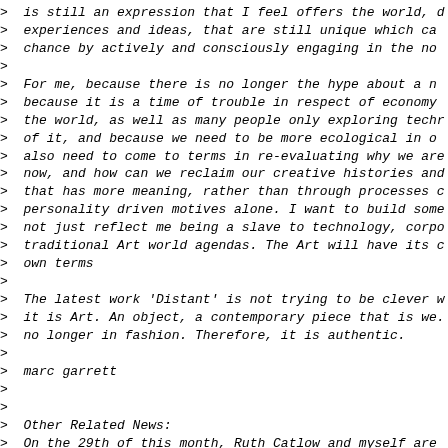> is still an expression that I feel offers the world, c
> experiences and ideas, that are still unique which ca
> chance by actively and consciously engaging in the no
>
> For me, because there is no longer the hype about a n
> because it is a time of trouble in respect of economy
> the world, as well as many people only exploring tech
> of it, and because we need to be more ecological in o
> also need to come to terms in re-evaluating why we ar
> now, and how can we reclaim our creative histories an
> that has more meaning, rather than through processes
> personality driven motives alone. I want to build som
> not just reflect me being a slave to technology, corp
> traditional Art world agendas. The Art will have its
> own terms
>
> The latest work 'Distant' is not trying to be clever
> it is Art. An object, a contemporary piece that is we
> no longer in fashion. Therefore, it is authentic.
>
> marc garrett
>
>
> Other Related News:
> On the 29th of this month, Ruth Catlow and myself are
> artists residency at Banff, Canada. Through the whole
> during March, we will both be collaborating to make n
> together. It will include open source and it will inv
> As we explore the possibilities of using contemporary
> be used for our Net Art practice, we will set up a no